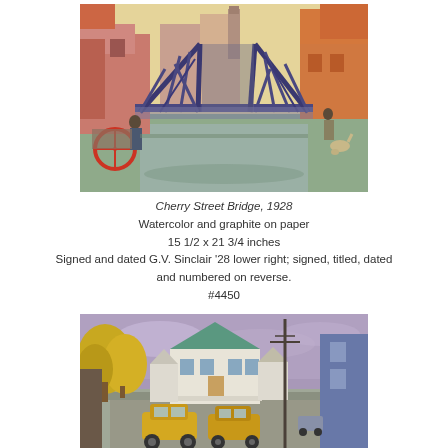[Figure (illustration): Watercolor painting of Cherry Street Bridge, 1928. A steel truss bridge dominates the center, painted in dark blue/purple. Buildings in pink and orange tones flank the bridge. A figure with a cart is visible on the left, another figure on the right with what appears to be a dog. The scene is rendered in loose, expressive watercolor strokes with a warm background sky.]
Cherry Street Bridge, 1928
Watercolor and graphite on paper
15 1/2 x 21 3/4 inches
Signed and dated G.V. Sinclair '28 lower right; signed, titled, dated and numbered on reverse.
#4450
[Figure (illustration): Watercolor painting of a street scene with vintage automobiles (yellow cars) in the foreground, white Victorian-style houses with a teal/green roof in the center, yellow autumn trees on the left, a utility pole in the middle-right, and a blue building on the far right. Rendered in muted purples, yellows, and blues with a cloudy purple-grey sky.]